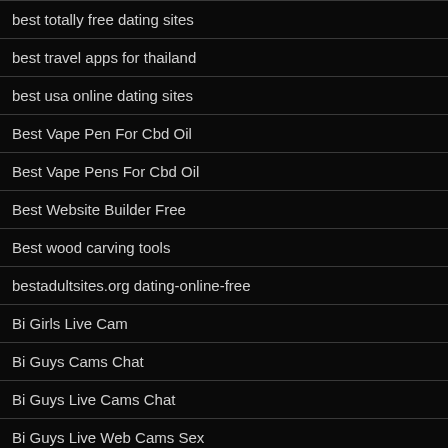best totally free dating sites
best travel apps for thailand
best usa online dating sites
Best Vape Pen For Cbd Oil
Best Vape Pens For Cbd Oil
Best Website Builder Free
Best wood carving tools
bestadultsites.org dating-online-free
Bi Girls Live Cam
Bi Guys Cams Chat
Bi Guys Live Cams Chat
Bi Guys Live Web Cams Sex
Bi Guys Live Webcam Porn